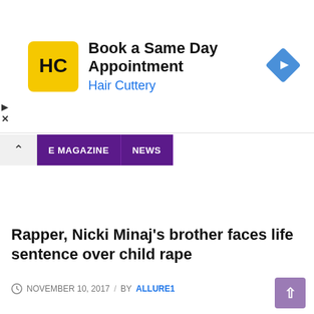[Figure (screenshot): Hair Cuttery advertisement banner with logo (yellow square with HC letters), text 'Book a Same Day Appointment' and 'Hair Cuttery' in blue, and a blue navigation arrow diamond icon on the right.]
E MAGAZINE  NEWS
Rapper, Nicki Minaj's brother faces life sentence over child rape
NOVEMBER 10, 2017  /  BY ALLURE1